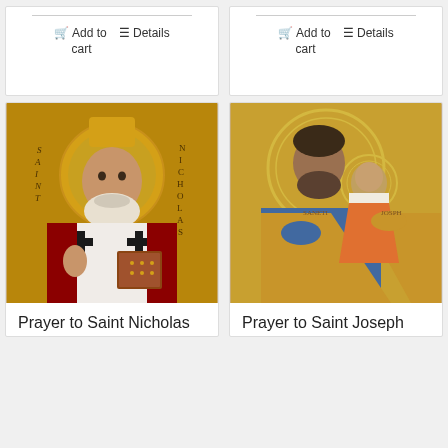Add to cart    Details
Add to cart    Details
[Figure (illustration): Orthodox icon painting of Saint Nicholas in bishop vestments, red robes with white omophorion bearing black crosses, holding a book, with gold halo, letters S-A-I-N-T on left and N-I-C-H-O-L-A-S on right]
Prayer to Saint Nicholas
[Figure (illustration): Orthodox icon painting of Saint Joseph holding the child Jesus, wearing blue robe and golden mantle, both figures with halos, gold background, text SANETI on left and JOSPH on right]
Prayer to Saint Joseph